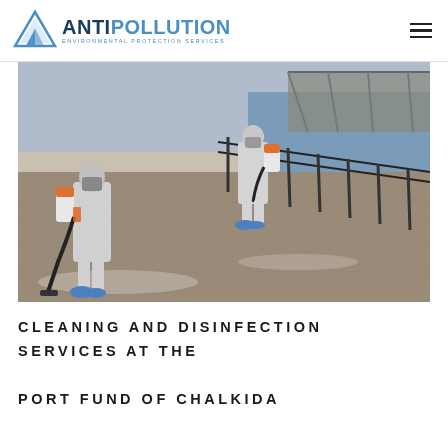ANTIPOLLUTION ENVIRONMENTAL PROTECTION SERVICES
[Figure (photo): Two workers in white hazmat suits with blue shoe covers using backpack sprayer machines to disinfect a waterfront promenade/pier area. Black metal railings visible along the water, with a bridge structure in the background. The scene appears to be a port or harbor area.]
CLEANING AND DISINFECTION SERVICES AT THE PORT FUND OF CHALKIDA